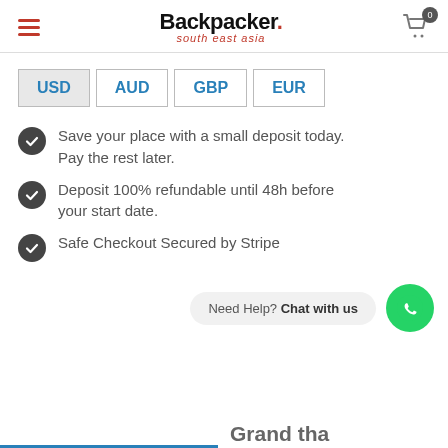Backpacker. south east asia
USD  AUD  GBP  EUR
Save your place with a small deposit today. Pay the rest later.
Deposit 100% refundable until 48h before your start date.
Safe Checkout Secured by Stripe
Need Help? Chat with us
Grand tha…